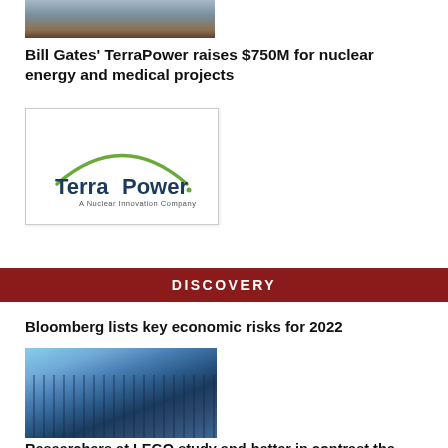[Figure (photo): Partial image at top of page, appears to show an outdoor scene]
Bill Gates' TerraPower raises $750M for nuclear energy and medical projects
[Figure (logo): TerraPower logo — A Nuclear Innovation Company — with green arc above dark blue text]
DISCOVERY
Bloomberg lists key economic risks for 2022
[Figure (photo): Upward view of tall glass skyscrapers against blue sky]
Researchers at LEGO study and better in contrast the...